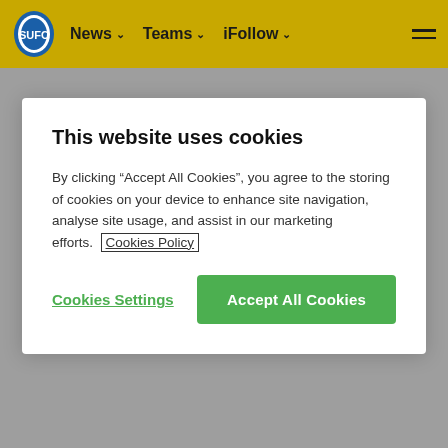News | Teams | iFollow
This website uses cookies
By clicking “Accept All Cookies”, you agree to the storing of cookies on your device to enhance site navigation, analyse site usage, and assist in our marketing efforts. Cookies Policy
Cookies Settings
Accept All Cookies
Rob Hardy Community Officer for Sutton United FC said – its very gratifying to see that the hard work of Sutton United's United in the Community Team is paying off and it is providing activities for young people in the Stonecot ward – and Im grateful to Steve King for his commitment and efforts to re-establish the session.
Further projects funded by Sportivate are due to start shortly again working with the Metrpolitan Police SNT teams in Sutton – these include a project in Belmont on the Shonklin